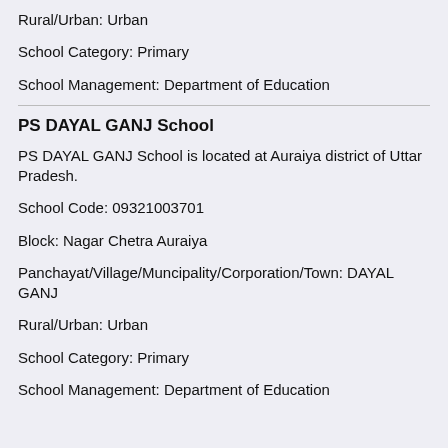Rural/Urban: Urban
School Category: Primary
School Management: Department of Education
PS DAYAL GANJ School
PS DAYAL GANJ School is located at Auraiya district of Uttar Pradesh.
School Code: 09321003701
Block: Nagar Chetra Auraiya
Panchayat/Village/Muncipality/Corporation/Town: DAYAL GANJ
Rural/Urban: Urban
School Category: Primary
School Management: Department of Education